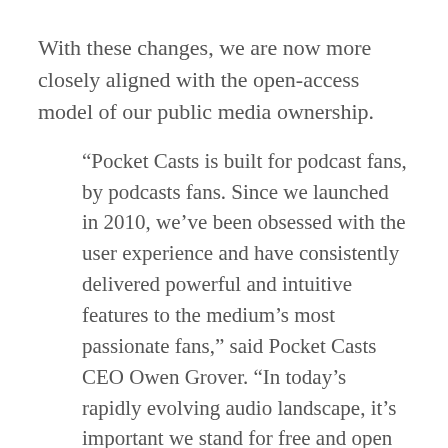With these changes, we are now more closely aligned with the open-access model of our public media ownership.
“Pocket Casts is built for podcast fans, by podcasts fans. Since we launched in 2010, we’ve been obsessed with the user experience and have consistently delivered powerful and intuitive features to the medium’s most passionate fans,” said Pocket Casts CEO Owen Grover. “In today’s rapidly evolving audio landscape, it’s important we stand for free and open access — not walled gardens — to grow the